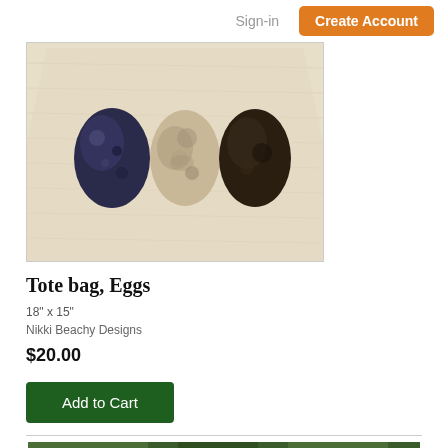Sign-in  Create Account
[Figure (photo): A natural linen/canvas tote bag with three egg designs printed on it — a speckled dark blue/black egg on the left, a lighter mottled egg in the center, and a dark solid egg on the right. The bag appears to be on a light background.]
Tote bag, Eggs
18" x 15"
Nikki Beachy Designs
$20.00
Add to Cart
[Figure (photo): Partial view of another product image showing green foliage/plants at the bottom of the page.]